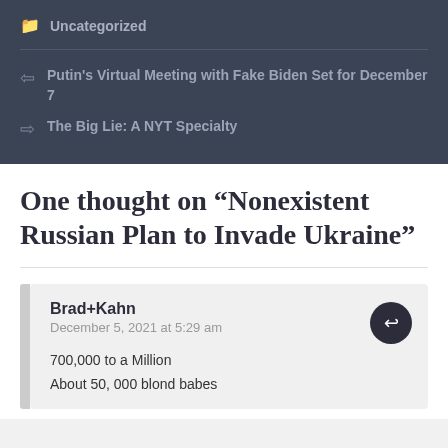Uncategorized
Putin's Virtual Meeting with Fake Biden Set for December 7
The Big Lie: A NYT Specialty
One thought on “Nonexistent Russian Plan to Invade Ukraine”
Brad+Kahn
December 5, 2021 at 5:29 am

700,000 to a Million
About 50, 000 blond babes